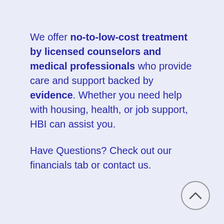We offer no-to-low-cost treatment by licensed counselors and medical professionals who provide care and support backed by evidence. Whether you need help with housing, health, or job support, HBI can assist you.

Have Questions? Check out our financials tab or contact us.
[Figure (other): Circular up-arrow button in bottom-right corner]